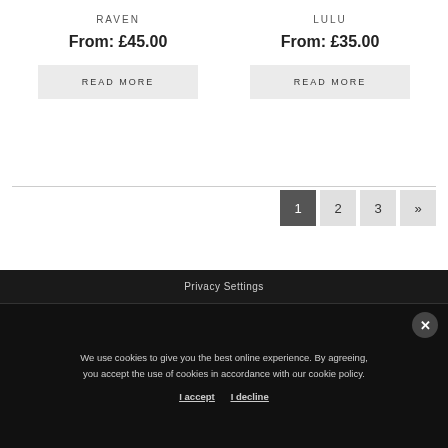RAVEN
From: £45.00
READ MORE
LULU
From: £35.00
READ MORE
1 2 3 »
Privacy Settings
We use cookies to give you the best online experience. By agreeing, you accept the use of cookies in accordance with our cookie policy.
I accept  I decline